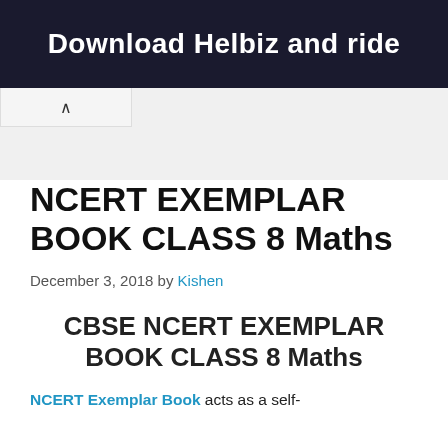[Figure (photo): Dark advertisement banner with text 'Download Helbiz and ride' showing a scooter/bike handle in background]
NCERT EXEMPLAR BOOK CLASS 8 Maths
December 3, 2018 by Kishen
CBSE NCERT EXEMPLAR BOOK CLASS 8 Maths
NCERT Exemplar Book acts as a self-